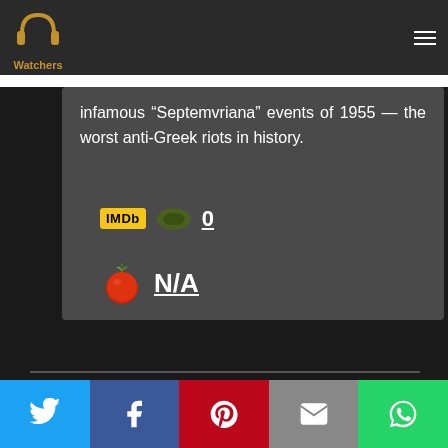PP Watchers — navigation bar with logo and hamburger menu
infamous “Septemvriana” events of 1955 — the worst anti-Greek riots in history.
[Figure (infographic): IMDb badge and Filmweb icon with score 0]
[Figure (infographic): Rotten Tomatoes tomato emoji with score N/A]
Social share bar: Twitter, Facebook, Pinterest, Email, WhatsApp